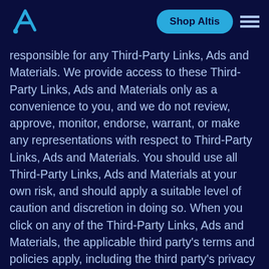Shop Altis
responsible for any Third-Party Links, Ads and Materials. We provide access to these Third-Party Links, Ads and Materials only as a convenience to you, and we do not review, approve, monitor, endorse, warrant, or make any representations with respect to Third-Party Links, Ads and Materials. You should use all Third-Party Links, Ads and Materials at your own risk, and should apply a suitable level of caution and discretion in doing so. When you click on any of the Third-Party Links, Ads and Materials, the applicable third party's terms and policies apply, including the third party's privacy and data gathering practices. You should make whatever investigation you feel necessary or appropriate before proceeding with any transaction in connection with such Third-Party Links, Ads and Materials.